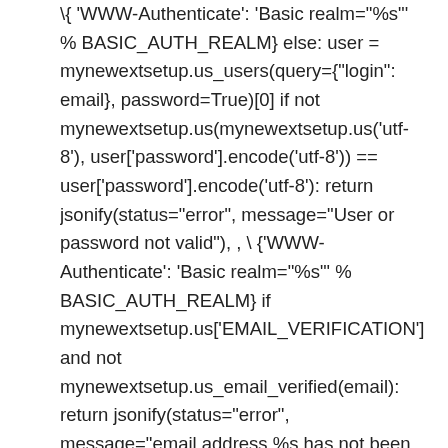\ { 'WWW-Authenticate': 'Basic realm="%s"' % BASIC_AUTH_REALM} else: user = mynewextsetup.us_users(query={"login": email}, password=True)[0] if not mynewextsetup.us(mynewextsetup.us('utf-8'), user['password'].encode('utf-8')) == user['password'].encode('utf-8'): return jsonify(status="error", message="User or password not valid"), , \ {'WWW-Authenticate': 'Basic realm="%s"' % BASIC_AUTH_REALM} if mynewextsetup.us['EMAIL_VERIFICATION'] and not mynewextsetup.us_email_verified(email): return jsonify(status="error", message="email address %s has not been